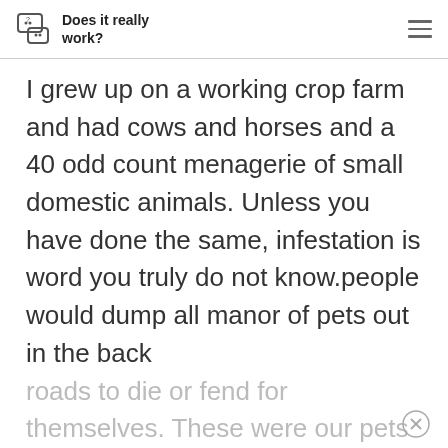Does it really work?
I grew up on a working crop farm and had cows and horses and a 40 odd count menagerie of small domestic animals. Unless you have done the same, infestation is word you truly do not know.people would dump all manor of pets out in the back roads to die or fend for themselves. These were our pets